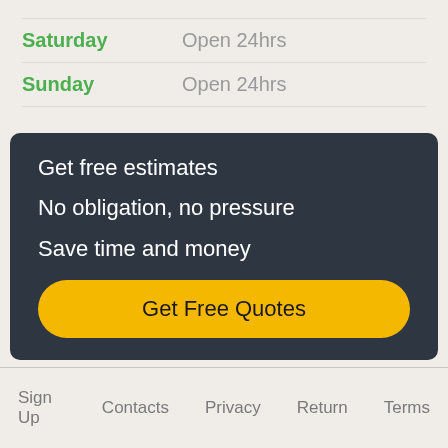| Day | Hours |
| --- | --- |
| Saturday | Open 24hrs |
| Sunday | Open 24hrs |
Get free estimates
No obligation, no pressure
Save time and money
Get Free Quotes
Sign Up   Contacts   Privacy   Return   Terms